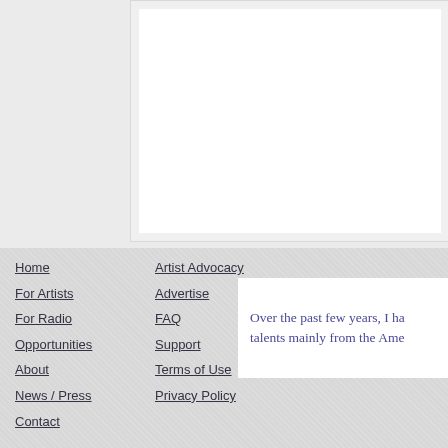[Figure (screenshot): Top portion showing a white content panel with diagonal hatching border on a light gray background]
Home
For Artists
For Radio
Opportunities
About
News / Press
Contact
Artist Advocacy
Advertise
FAQ
Support
Terms of Use
Privacy Policy
Over the past few years, I ha talents mainly from the Ame